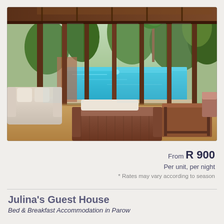[Figure (photo): Interior lounge area of a guest house with wicker/rattan furniture and cream cushions, large floor-to-ceiling glass sliding doors overlooking a blue swimming pool surrounded by tropical green plants and trees. Wooden beam ceiling and warm terracotta floor tiles.]
From R 900
Per unit, per night
* Rates may vary according to season
Julina's Guest House
Bed & Breakfast Accommodation in Parow